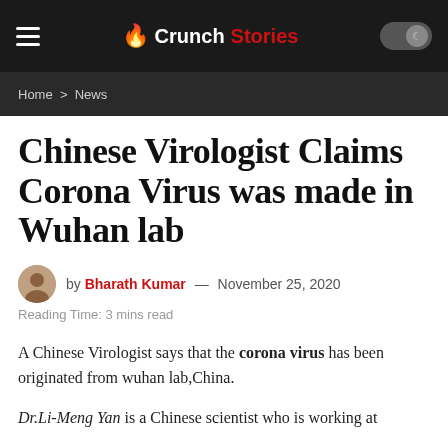Crunch Stories
Home > News
Chinese Virologist Claims Corona Virus was made in Wuhan lab
by Bharath Kumar — November 25, 2020
Reading Time: 3 mins read
A Chinese Virologist says that the corona virus has been originated from wuhan lab,China.
Dr.Li-Meng Yan is a Chinese scientist who is working at